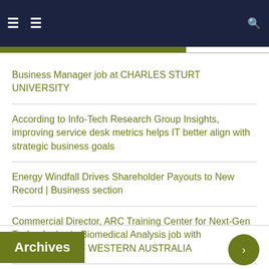Business Manager job at CHARLES STURT UNIVERSITY
According to Info-Tech Research Group Insights, improving service desk metrics helps IT better align with strategic business goals
Energy Windfall Drives Shareholder Payouts to New Record | Business section
Commercial Director, ARC Training Center for Next-Gen Technologies in Biomedical Analysis job with UNIVERSITY OF WESTERN AUSTRALIA
Former R. Kelly business manager shelled out thousands to recover missing tapes, man testifies
Archives